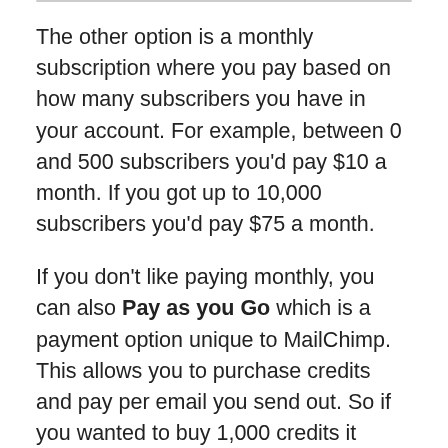The other option is a monthly subscription where you pay based on how many subscribers you have in your account. For example, between 0 and 500 subscribers you’d pay $10 a month. If you got up to 10,000 subscribers you’d pay $75 a month.
If you don’t like paying monthly, you can also Pay as you Go which is a payment option unique to MailChimp. This allows you to purchase credits and pay per email you send out. So if you wanted to buy 1,000 credits it would cost you $30 ($0.03/per email). The more credits you buy at a time, the less you end up paying per email.